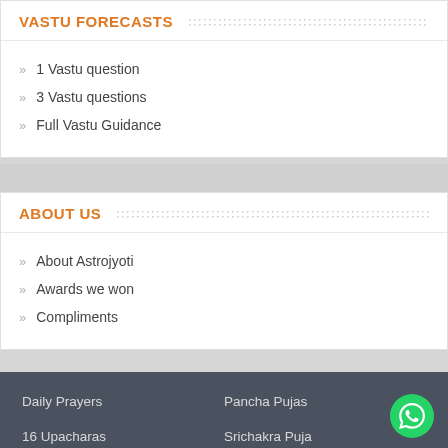VASTU FORECASTS
1 Vastu question
3 Vastu questions
Full Vastu Guidance
ABOUT US
About Astrojyoti
Awards we won
Compliments
Daily Prayers   Pancha Pujas   16 Upacharas   Srichakra Puja